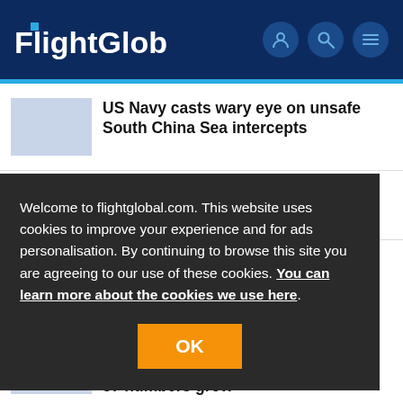FlightGlobal
US Navy casts wary eye on unsafe South China Sea intercepts
Private F-16 fleet receives USAF approval
Welcome to flightglobal.com. This website uses cookies to improve your experience and for ads personalisation. By continuing to browse this site you are agreeing to our use of these cookies. You can learn more about the cookies we use here.
OK
57 numbers grow